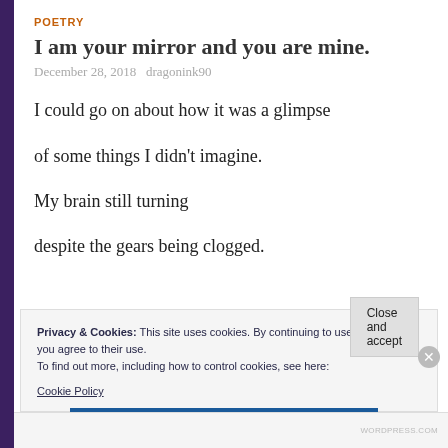POETRY
I am your mirror and you are mine.
December 28, 2018   dragonink90
I could go on about how it was a glimpse
of some things I didn't imagine.
My brain still turning
despite the gears being clogged.
Privacy & Cookies: This site uses cookies. By continuing to use this website, you agree to their use.
To find out more, including how to control cookies, see here:
Cookie Policy
Close and accept